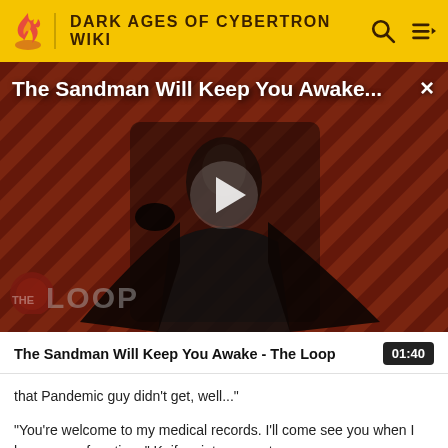DARK AGES OF CYBERTRON WIKI
[Figure (screenshot): Video thumbnail for 'The Sandman Will Keep You Awake...' showing a dark figure in black cape against a diagonal striped red/dark background with 'THE LOOP' branding and a play button overlay. Title overlaid at top: 'The Sandman Will Keep You Awake...' with a close X button.]
The Sandman Will Keep You Awake - The Loop  01:40
that Pandemic guy didn't get, well..."
"You're welcome to my medical records. I'll come see you when I have some free time." Knifepoint snaps at